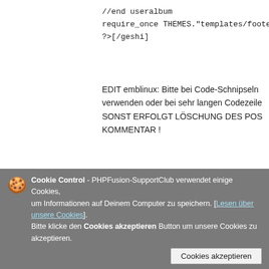//end useralbum
require_once THEMES."templates/footer.p
?>[/geshi]
EDIT emblinux: Bitte bei Code-Schnipseln verwenden oder bei sehr langen Codezeile SONST ERFOLGT LÖSCHUNG DES POS KOMMENTAR !
🏠 Website
Datalus
Geschrieben am 20.05.2009 um 12:50
ALso ich kann so keinen fehler entdecken.
Cookie Control - PHPFusion-SupportClub verwendet einige Cookies, um Informationen auf Deinem Computer zu speichern. [Lesen über unsere Cookies]. Bitte klicke den Cookies akzeptieren Button um unsere Cookies zu akzeptieren.
Cookies akzeptieren